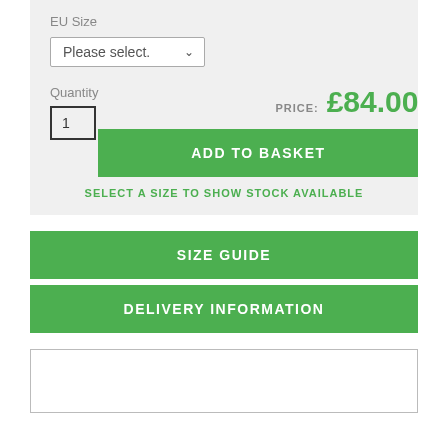EU Size
Please select.
Quantity
1
PRICE: £84.00
ADD TO BASKET
SELECT A SIZE TO SHOW STOCK AVAILABLE
SIZE GUIDE
DELIVERY INFORMATION